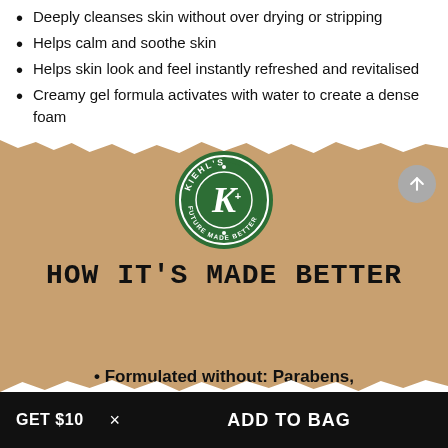Deeply cleanses skin without over drying or stripping
Helps calm and soothe skin
Helps skin look and feel instantly refreshed and revitalised
Creamy gel formula activates with water to create a dense foam
[Figure (logo): Kiehl's Future Made Better circular green logo with K+ monogram]
HOW IT'S MADE BETTER
• Formulated without: Parabens,
Silicone, Sulfate, Mineral Oil
GET $10  ×  ADD TO BAG